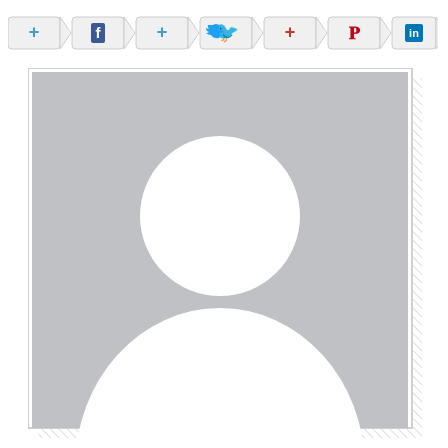[Figure (screenshot): Social media share buttons bar: plus signs and icons for Facebook, Twitter, Pinterest, LinkedIn arranged as chevron/arrow shaped buttons]
[Figure (photo): Generic placeholder profile image: gray rectangle with white silhouette of a person (head circle and body/shoulders shape)]